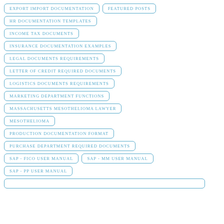EXPORT IMPORT DOCUMENTATION
FEATURED POSTS
HR DOCUMENTATION TEMPLATES
INCOME TAX DOCUMENTS
INSURANCE DOCUMENTATION EXAMPLES
LEGAL DOCUMENTS REQUIREMENTS
LETTER OF CREDIT REQUIRED DOCUMENTS
LOGISTICS DOCUMENTS REQUIREMENTS
MARKETING DEPARTMENT FUNCTIONS
MASSACHUSETTS MESOTHELIOMA LAWYER
MESOTHELIOMA
PRODUCTION DOCUMENTATION FORMAT
PURCHASE DEPARTMENT REQUIRED DOCUMENTS
SAP - FICO USER MANUAL
SAP - MM USER MANUAL
SAP - PP USER MANUAL